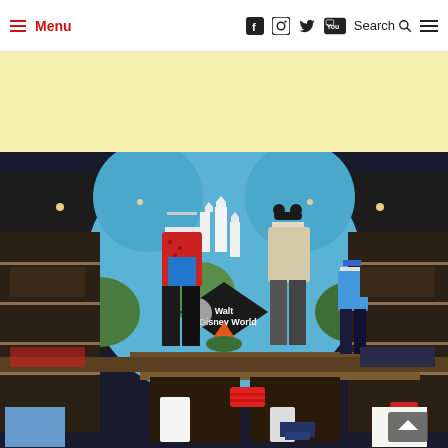Menu | Social icons | Search
[Figure (photo): Yellow advertisement banner area]
[Figure (photo): Interior of a Walt Disney World merchandise store showing mannequins dressed in Disney-themed apparel (red patterned shirt, light jacket), shelves of merchandise, Walt Disney World branded display centerpiece with castle graphic, and merchandise including bags, shirts, and accessories displayed on lower shelves]